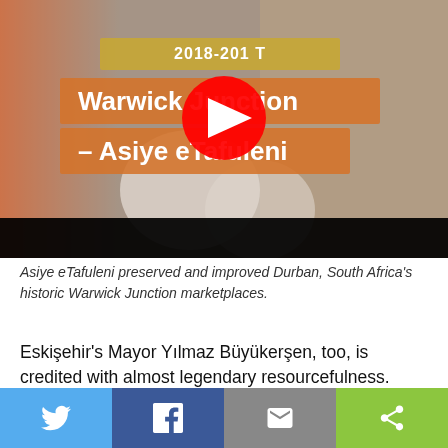[Figure (screenshot): YouTube video thumbnail showing '2018-201... T' text, 'Warwick Junction – Asiye eTafuleni' title with orange/pink highlight, a woman in a striped shirt smiling, and a YouTube play button overlay. Orange gradient on the left side.]
Asiye eTafuleni preserved and improved Durban, South Africa's historic Warwick Junction marketplaces.
Eskişehir's Mayor Yılmaz Büyükerşen, too, is credited with almost legendary resourcefulness. Stewarding the city's revival in a time of economic crisis in Turkey and in the wake of a major earthquake, he found resources and
[Figure (infographic): Social media share bar with four buttons: Twitter (blue), Facebook (dark blue), Email (grey), Share (green)]